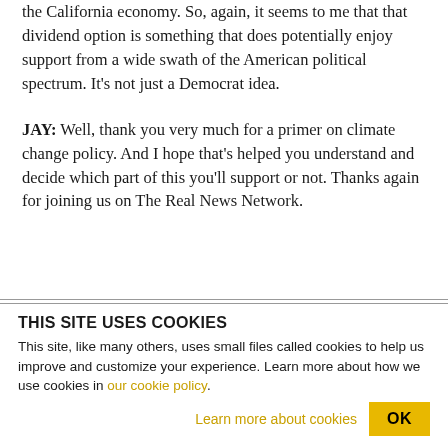the California economy. So, again, it seems to me that that dividend option is something that does potentially enjoy support from a wide swath of the American political spectrum. It's not just a Democrat idea.
JAY: Well, thank you very much for a primer on climate change policy. And I hope that's helped you understand and decide which part of this you'll support or not. Thanks again for joining us on The Real News Network.
THIS SITE USES COOKIES
This site, like many others, uses small files called cookies to help us improve and customize your experience. Learn more about how we use cookies in our cookie policy.
Learn more about cookies
OK